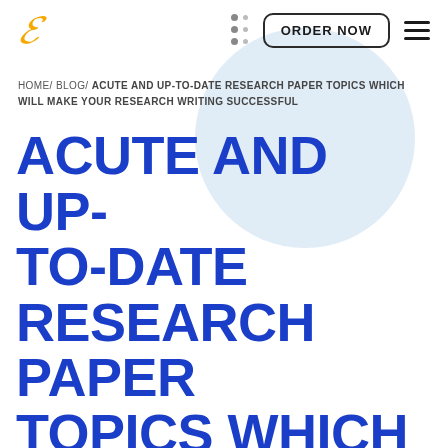E | ORDER NOW | ≡
HOME/ BLOG/ ACUTE AND UP-TO-DATE RESEARCH PAPER TOPICS WHICH WILL MAKE YOUR RESEARCH WRITING SUCCESSFUL
ACUTE AND UP-TO-DATE RESEARCH PAPER TOPICS WHICH WILL MAKE YOUR RESEARCH WRITING